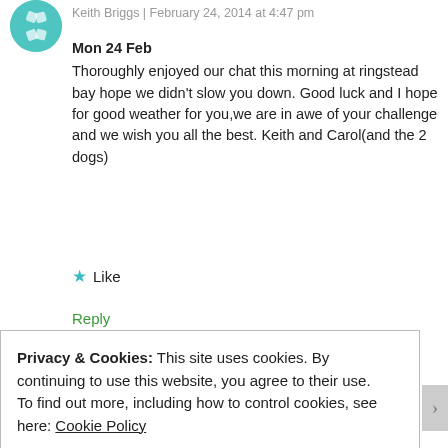Keith Briggs | February 24, 2014 at 4:47 pm
Mon 24 Feb
Thoroughly enjoyed our chat this morning at ringstead bay hope we didn't slow you down. Good luck and I hope for good weather for you,we are in awe of your challenge and we wish you all the best. Keith and Carol(and the 2 dogs)
★ Like
Reply
[Figure (illustration): Circular avatar with orange/brown geometric pattern on light background]
Privacy & Cookies: This site uses cookies. By continuing to use this website, you agree to their use.
To find out more, including how to control cookies, see here: Cookie Policy
Close and accept